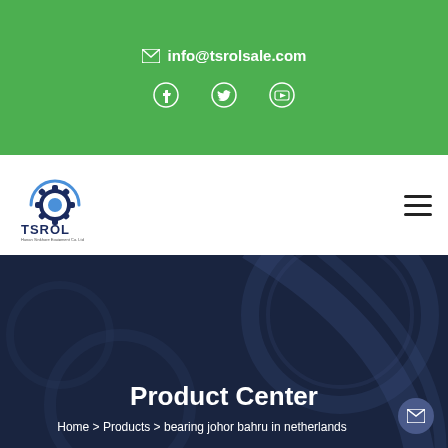info@tsrolsale.com
[Figure (logo): TSROL company logo with gear icon and text 'Hunan Sinkhore Equipment Co. Ltd']
Product Center
Home > Products > bearing johor bahru in netherlands